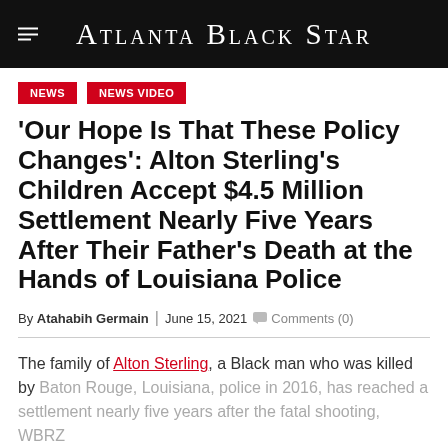Atlanta Black Star
NEWS
NEWS VIDEO
‘Our Hope Is That These Policy Changes’: Alton Sterling’s Children Accept $4.5 Million Settlement Nearly Five Years After Their Father’s Death at the Hands of Louisiana Police
By Atahabih Germain | June 15, 2021  Comments (0)
The family of Alton Sterling, a Black man who was killed by Baton Rouge, Louisiana, police in 2016, has reached a settlement nearly five years after the fatal shooting, WBRZ